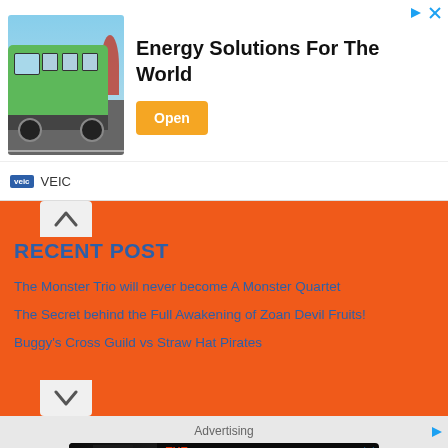[Figure (screenshot): Ad banner showing a green electric bus with sky and trees background]
Energy Solutions For The World
Open
VEIC
RECENT POST
The Monster Trio will never become A Monster Quartet
The Secret behind the Full Awakening of Zoan Devil Fruits!
Buggy's Cross Guild vs Straw Hat Pirates
Advertising
[Figure (screenshot): Ad banner for The Black Phone streaming on Peacock with Stream Now button]